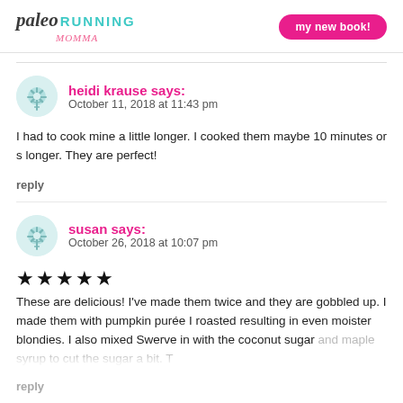paleo RUNNING MOMMA | my new book!
heidi krause says:
October 11, 2018 at 11:43 pm
I had to cook mine a little longer. I cooked them maybe 10 minutes or s longer. They are perfect!
reply
susan says:
October 26, 2018 at 10:07 pm
★★★★★
These are delicious! I've made them twice and they are gobbled up. I made them with pumpkin purée I roasted resulting in even moister blondies. I also mixed Swerve in with the coconut sugar and maple syrup to cut the sugar a bit. T
reply